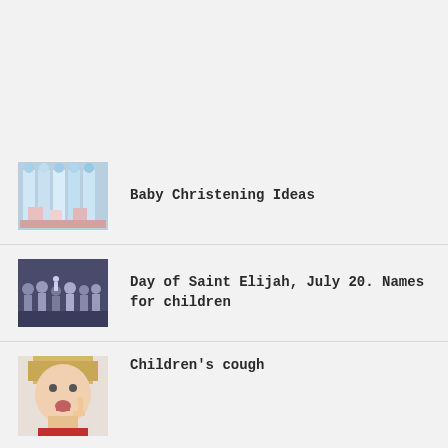Baby Christening Ideas
Day of Saint Elijah, July 20. Names for children
Children's cough